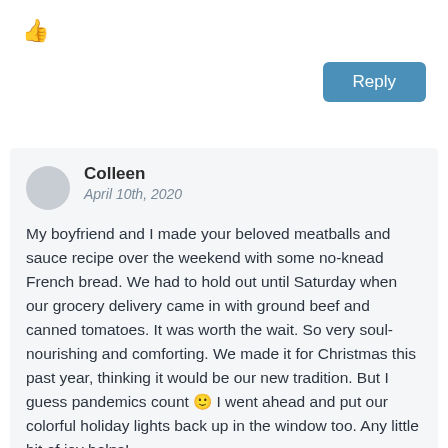[Figure (illustration): Thumbs up icon]
Reply
Colleen
April 10th, 2020

My boyfriend and I made your beloved meatballs and sauce recipe over the weekend with some no-knead French bread. We had to hold out until Saturday when our grocery delivery came in with ground beef and canned tomatoes. It was worth the wait. So very soul-nourishing and comforting. We made it for Christmas this past year, thinking it would be our new tradition. But I guess pandemics count 🙂 I went ahead and put our colorful holiday lights back up in the window too. Any little bit of joy helps!